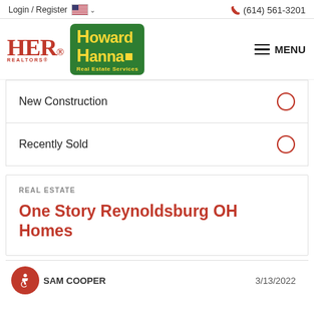Login / Register  🇺🇸 ∨    ☎ (614) 561-3201
[Figure (logo): HER Realtors and Howard Hanna Real Estate Services logos side by side, with a hamburger MENU button on the right]
New Construction
Recently Sold
REAL ESTATE
One Story Reynoldsburg OH Homes
SAM COOPER   3/13/2022